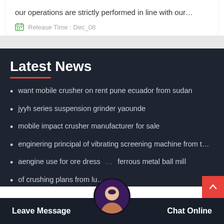our operations are strictly performed in line with our…
Release Time : Dec_08
Latest News
want mobile crusher on rent pune ecuador from sudan
jyyh series suspension grinder yaounde
mobile impact crusher manufacturer for sale
enginering principal of vibrating screening machine from t…
aengine use for ore dress… ferrous metal ball mill
of crushing plans from lu…
Leave Message   Chat Online